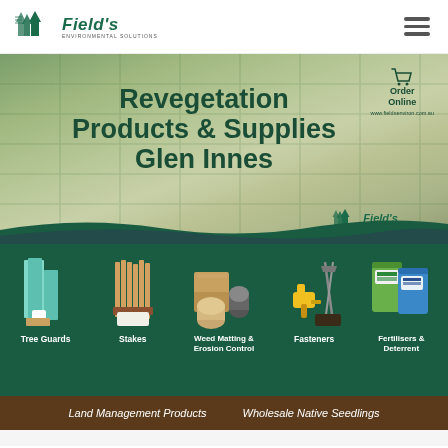[Figure (logo): Field's Environmental Solutions logo with green tree icons and italic bold text]
[Figure (illustration): Hamburger menu icon (three horizontal lines) in top right corner]
[Figure (illustration): Hero banner with background image of seedling nursery trays, dark green bold text reading 'Revegetation Products & Supplies Glen Innes', order online cart icon top right, Field's logo bottom right]
[Figure (photo): Product strip on dark green background showing five product categories: Tree Guards (blue-green protective sleeves), Stakes (bamboo/wooden stakes), Weed Matting & Erosion Control (rolled matting and blocks), Fasteners (hand tools and clips), Fertilisers & Deterrent (bags of fertiliser products)]
Land Management Products   Wholesale Native Seedlings